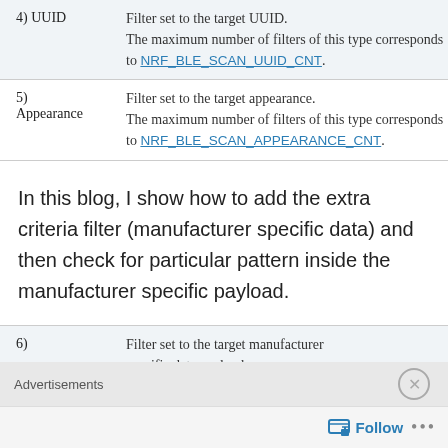| # | Description |
| --- | --- |
| 4) UUID | Filter set to the target UUID.
The maximum number of filters of this type corresponds to NRF_BLE_SCAN_UUID_CNT. |
| 5)
Appearance | Filter set to the target appearance.
The maximum number of filters of this type corresponds to NRF_BLE_SCAN_APPEARANCE_CNT. |
In this blog, I show how to add the extra criteria filter (manufacturer specific data) and then check for particular pattern inside the manufacturer specific payload.
| # | Description |
| --- | --- |
| 6)
Manufacturer | Filter set to the target manufacturer specific data payload
The maximum number of filters of... |
Advertisements
Follow